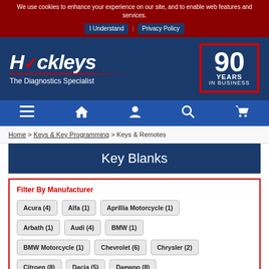We use cookies to enhance your experience on our site, and to enable web features and services. I Understand  Privacy Policy
[Figure (logo): Hickleys - The Diagnostics Specialist logo with italic white text and red checkmark, red underline, and 90 Years In Business badge with red border]
[Figure (infographic): Navigation bar with hamburger menu, home, user, search, and cart icons]
Home > Keys & Key Programming > Keys & Remotes
Key Blanks
Filter By Manufacturer
Acura (4)
Alfa (1)
Aprillia Motorcycle (1)
Arbath (1)
Audi (4)
BMW (1)
BMW Motorcycle (1)
Chevrolet (6)
Chrysler (2)
Citroen (8)
Dacia (5)
Daewoo (8)